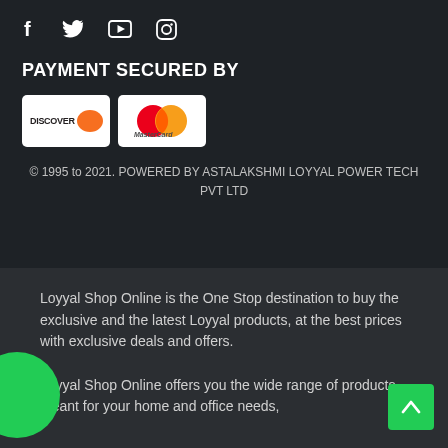[Figure (infographic): Social media icons row: Facebook (f), Twitter (bird), YouTube (play button), Instagram (camera)]
PAYMENT SECURED BY
[Figure (infographic): Payment logos: Discover card badge and MasterCard badge on white backgrounds]
© 1995 to 2021. POWERED BY ASTALAKSHMI LOYYAL POWER TECH PVT LTD
Loyyal Shop Online is the One Stop destination to buy the exclusive and the latest Loyyal products, at the best prices with exclusive deals and offers.

Loyyal Shop Online offers you the wide range of products meant for your home and office needs,